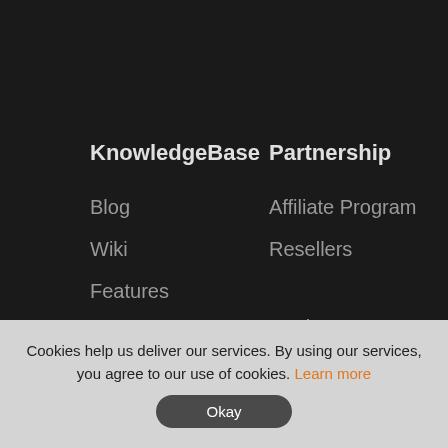KnowledgeBase
Partnership
Blog
Affiliate Program
Wiki
Resellers
Features
FAQ
HTTP API
Registrant Educational Materials
WHMCS module
Cookies help us deliver our services. By using our services, you agree to our use of cookies. Learn more
Okay